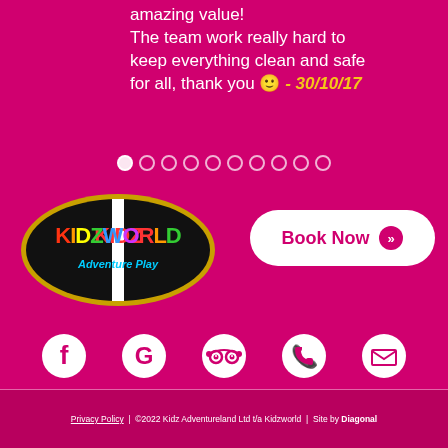amazing value! The team work really hard to keep everything clean and safe for all, thank you 🙂 - 30/10/17
[Figure (other): Pagination dots row with 10 dots, first dot filled/active]
[Figure (logo): Kidzworld Adventure Play logo - oval black background with colorful text]
[Figure (other): Book Now button with double chevron icon]
[Figure (other): Social media icons row: Facebook, Google, TripAdvisor, Phone, Email]
Privacy Policy | ©2022 Kidz Adventureland Ltd t/a Kidzworld | Site by Diagonal